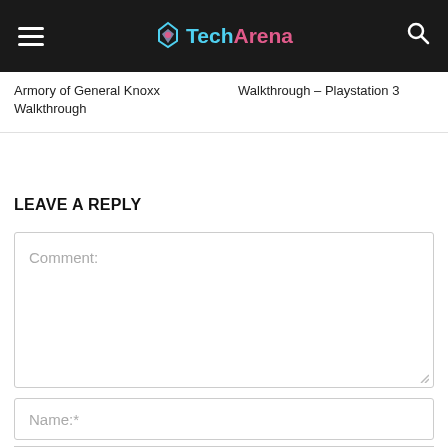TechArena
Armory of General Knoxx Walkthrough
Walkthrough – Playstation 3
LEAVE A REPLY